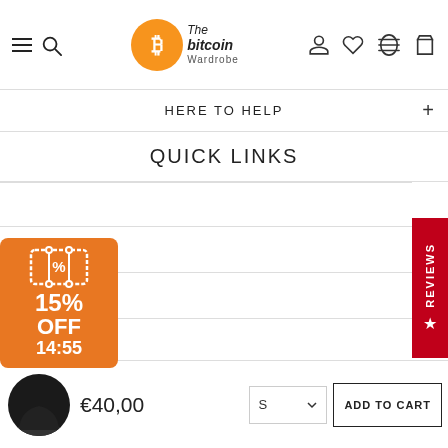[Figure (screenshot): Navigation bar with hamburger/search icons, The Bitcoin Wardrobe logo, and right-side user/wishlist/compare/cart icons]
HERE TO HELP
QUICK LINKS
[Figure (other): REVIEWS red vertical tab on right side]
Copyright © 2022  The Bitcoin Wardrobe  Powered by Shopify
We use cookies to ensure that we give you the best experience on our website.
[Figure (other): Social media icons row: Facebook, Twitter, Pinterest, YouTube]
PRIVACY POLICY   ACCEPT ✓
[Figure (other): Payment method icons: Amex, Apple Pay, Google Pay, Klarna, Mastercard, Mastercard, PayPal]
[Figure (other): 15% OFF 14:55 coupon badge with ticket icon]
€40,00
[Figure (other): Size selector dropdown showing S]
ADD TO CART